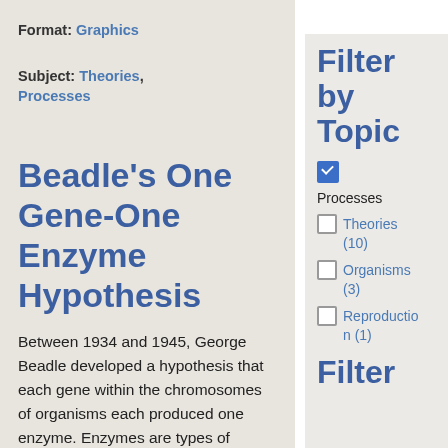Format: Graphics
Subject: Theories, Processes
Beadle's One Gene-One Enzyme Hypothesis
Between 1934 and 1945, George Beadle developed a hypothesis that each gene within the chromosomes of organisms each produced one enzyme. Enzymes are types of proteins that can
Filter by Topic
Processes (checked)
Theories (10)
Organisms (3)
Reproduction (1)
Filter